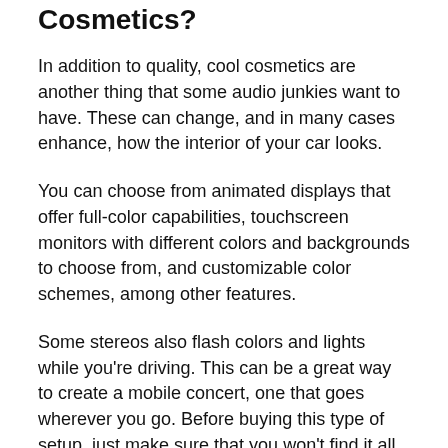Cosmetics?
In addition to quality, cool cosmetics are another thing that some audio junkies want to have. These can change, and in many cases enhance, how the interior of your car looks.
You can choose from animated displays that offer full-color capabilities, touchscreen monitors with different colors and backgrounds to choose from, and customizable color schemes, among other features.
Some stereos also flash colors and lights while you're driving. This can be a great way to create a mobile concert, one that goes wherever you go. Before buying this type of setup, just make sure that you won't find it all distracting. Check out some